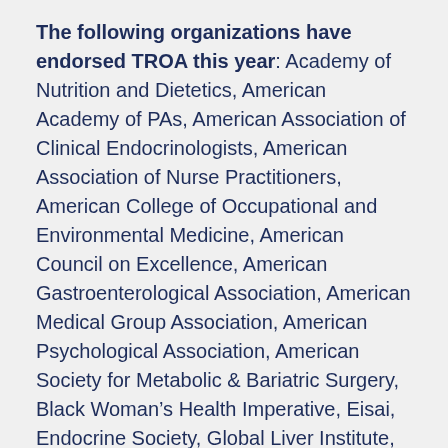The following organizations have endorsed TROA this year: Academy of Nutrition and Dietetics, American Academy of PAs, American Association of Clinical Endocrinologists, American Association of Nurse Practitioners, American College of Occupational and Environmental Medicine, American Council on Excellence, American Gastroenterological Association, American Medical Group Association, American Psychological Association, American Society for Metabolic & Bariatric Surgery, Black Woman's Health Imperative, Eisai, Endocrine Society, Global Liver Institute, Healthcare Leadership Council, MedTech Coalition for Metabolic Health, National Alliance of